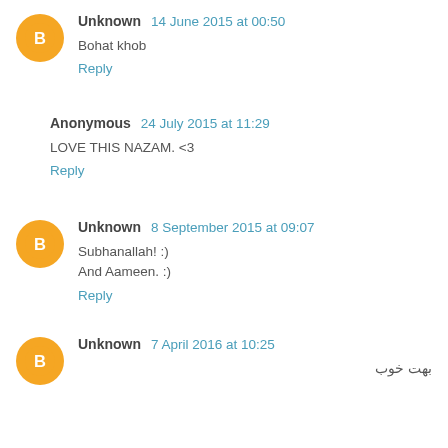Unknown 14 June 2015 at 00:50
Bohat khob
Reply
Anonymous 24 July 2015 at 11:29
LOVE THIS NAZAM. <3
Reply
Unknown 8 September 2015 at 09:07
Subhanallah! :)
And Aameen. :)
Reply
Unknown 7 April 2016 at 10:25
بهت خوب